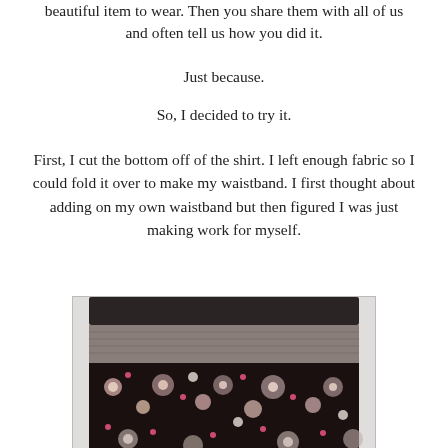beautiful item to wear. Then you share them with all of us and often tell us how you did it.
Just because.
So, I decided to try it.
First, I cut the bottom off of the shirt. I left enough fabric so I could fold it over to make my waistband. I first thought about adding on my own waistband but then figured I was just making work for myself.
[Figure (photo): A skirt made from a shirt, showing a dark waistband at the top folded over, a grey/brown knit midsection, and a floral patterned lower section with pink, white, and black flowers on a dark background.]